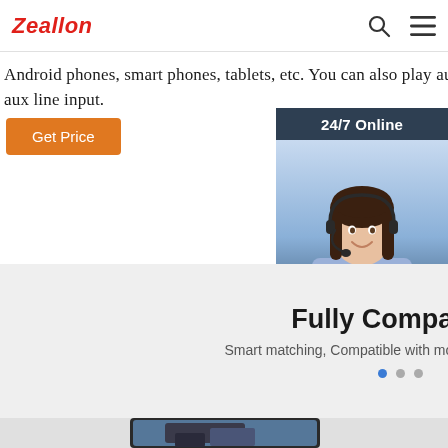Zeallon
Android phones, smart phones, tablets, etc. You can also play audio from a laptop, PC, MP3 player through the aux line input.
Get Price
[Figure (photo): 24/7 Online chat widget with a woman wearing a headset, 'Click here for free chat!' and QUOTATION button]
Fully Compatible
Smart matching, Compatible with most Bluetooth devic...
[Figure (photo): Devices including laptop, tablet and smartphones shown from below]